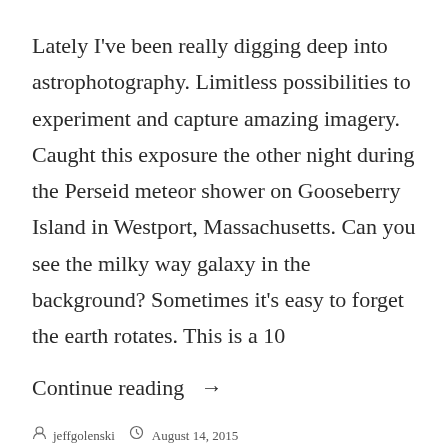Lately I've been really digging deep into astrophotography. Limitless possibilities to experiment and capture amazing imagery. Caught this exposure the other night during the Perseid meteor shower on Gooseberry Island in Westport, Massachusetts. Can you see the milky way galaxy in the background? Sometimes it's easy to forget the earth rotates. This is a 10
Continue reading →
jeffgolenski   August 14, 2015
Astrophotography, Photography
astrophotography, galaxy, gooseberry, Long Exposure Photography, MA, milky way, Night photography, photography